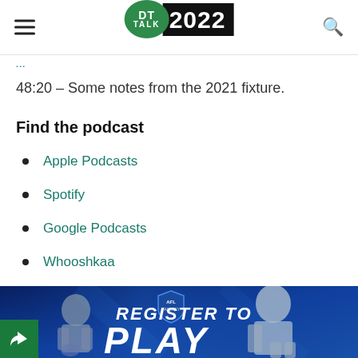DT Talk 2022
48:20 – Some notes from the 2021 fixture.
Find the podcast
Apple Podcasts
Spotify
Google Podcasts
Whooshkaa
AFL.com.au
[Figure (photo): AFL Fantasy banner with two players and text 'Register to Play']